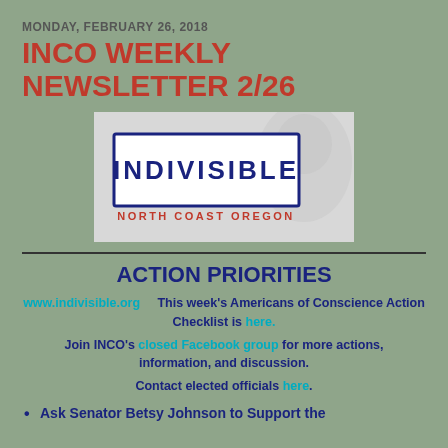MONDAY, FEBRUARY 26, 2018
INCO WEEKLY NEWSLETTER 2/26
[Figure (logo): Indivisible North Coast Oregon logo — rectangular bordered box with 'INDIVISIBLE' in large dark navy letters and 'NORTH COAST OREGON' in red smaller text below, set against a light gray background with a faint face silhouette]
ACTION PRIORITIES
www.indivisible.org    This week's Americans of Conscience Action Checklist is here.
Join INCO's closed Facebook group for more actions, information, and discussion.
Contact elected officials here.
Ask Senator Betsy Johnson to Support the